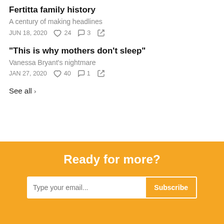Fertitta family history
A century of making headlines
JUN 18, 2020  24  3
“This is why mothers don’t sleep”
Vanessa Bryant’s nightmare
JAN 27, 2020  40  1
See all ›
Ready for more?
Type your email...  Subscribe